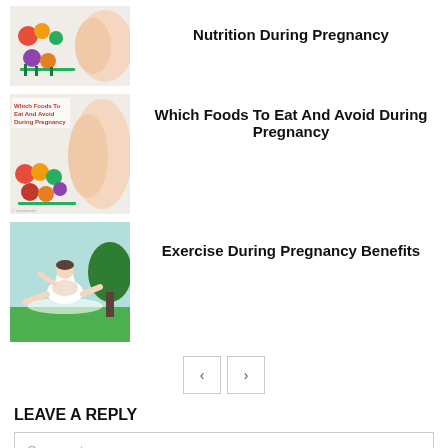[Figure (photo): Thumbnail image showing fruits, vegetables, and pregnant belly for Nutrition During Pregnancy article]
Nutrition During Pregnancy
[Figure (photo): Thumbnail image showing Which Foods To Eat And Avoid During Pregnancy with vegetables and pregnant woman]
Which Foods To Eat And Avoid During Pregnancy
[Figure (photo): Thumbnail image of pregnant woman doing yoga/stretching outdoors for Exercise During Pregnancy Benefits]
Exercise During Pregnancy Benefits
< >
LEAVE A REPLY
Comment: